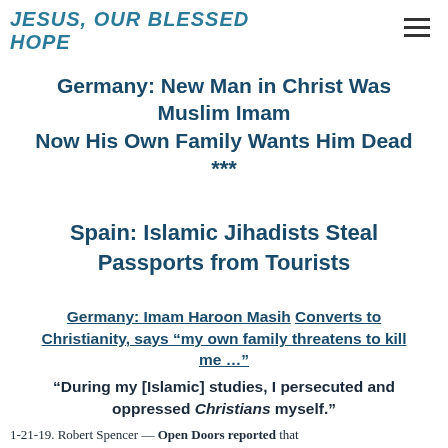JESUS, OUR BLESSED HOPE
Germany: New Man in Christ Was Muslim Imam
Now His Own Family Wants Him Dead
***
Spain: Islamic Jihadists Steal Passports from Tourists
Germany: Imam Haroon Masih Converts to Christianity, says “my own family threatens to kill me …”
“During my [Islamic] studies, I persecuted and oppressed Christians myself.”
1-21-19. Robert Spencer -- Open Doors reported that